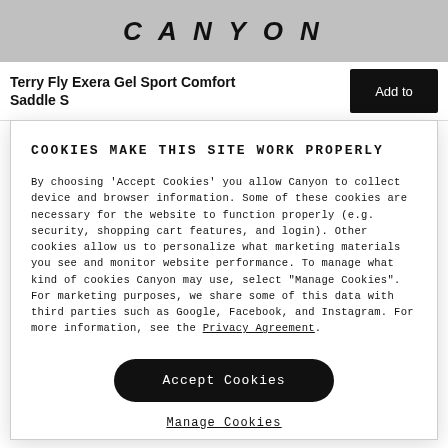CANYON
Terry Fly Exera Gel Sport Comfort Saddle S
COOKIES MAKE THIS SITE WORK PROPERLY
By choosing 'Accept Cookies' you allow Canyon to collect device and browser information. Some of these cookies are necessary for the website to function properly (e.g. security, shopping cart features, and login). Other cookies allow us to personalize what marketing materials you see and monitor website performance. To manage what kind of cookies Canyon may use, select "Manage Cookies". For marketing purposes, we share some of this data with third parties such as Google, Facebook, and Instagram. For more information, see the Privacy Agreement.
Accept Cookies
Manage Cookies